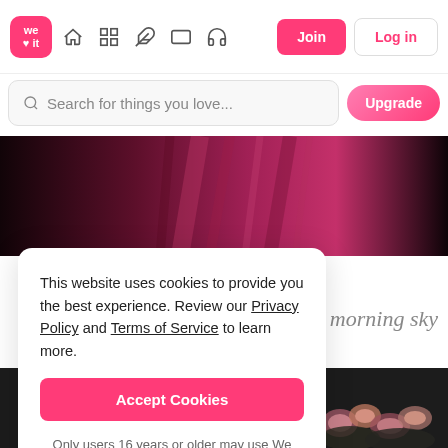We Heart It navigation bar with logo, icons, Join and Log in buttons
Search for things you love...
[Figure (screenshot): Banner image with dark pink and magenta abstract background]
This website uses cookies to provide you the best experience. Review our Privacy Policy and Terms of Service to learn more.
Accept Cookies
Only users 16 years or older may use We Heart It.
morning sky
[Figure (photo): Dark background with flowers (roses) at the bottom of the page]